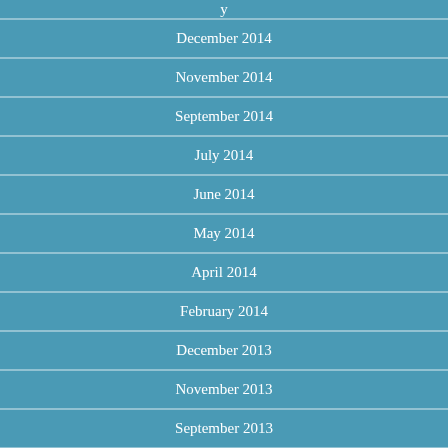December 2014
November 2014
September 2014
July 2014
June 2014
May 2014
April 2014
February 2014
December 2013
November 2013
September 2013